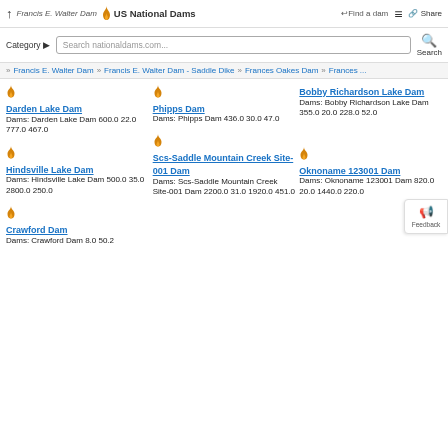Francis E. Walter Dam | US National Dams | Find a dam | Share
Search nationaldams.com...
Category | Search
Francis E. Walter Dam | Francis E. Walter Dam - Saddle Dike | Frances Oakes Dam | Frances ...
Darden Lake Dam
Dams: Darden Lake Dam 600.0 22.0 777.0 467.0
Phipps Dam
Dams: Phipps Dam 436.0 30.0 47.0
Bobby Richardson Lake Dam
Dams: Bobby Richardson Lake Dam 355.0 20.0 228.0 52.0
Hindsville Lake Dam
Dams: Hindsville Lake Dam 500.0 35.0 2800.0 250.0
Scs-Saddle Mountain Creek Site-001 Dam
Dams: Scs-Saddle Mountain Creek Site-001 Dam 2200.0 31.0 1920.0 451.0
Oknoname 123001 Dam
Dams: Oknoname 123001 Dam 820.0 20.0 1440.0 220.0
Crawford Dam
Dams: Crawford Dam 8.0 50.2